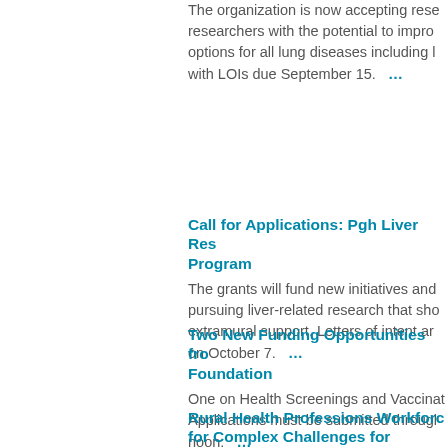The organization is now accepting researchers with the potential to improve options for all lung diseases including with LOIs due September 15. ...
Call for Applications: Pgh Liver Research Program
The grants will fund new initiatives and pursuing liver-related research that should extramural support. Letters of intent are on October 7. ...
Two New Funding Opportunities from Foundation
One on Health Screenings and Vaccinations. Applications must be submitted through noon. ...
Rural Health Professions Workforce for Complex Challenges for Recruiting